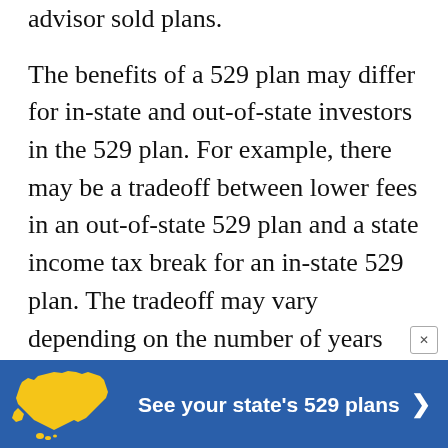advisor sold plans.
The benefits of a 529 plan may differ for in-state and out-of-state investors in the 529 plan. For example, there may be a tradeoff between lower fees in an out-of-state 529 plan and a state income tax break for an in-state 529 plan. The tradeoff may vary depending on the number of years until the student enrolls in college, reaching an inflection point around the time the student starts high school. Some 529 plans may provide seed contributions, matching contributions and lower fees for state resid
[Figure (infographic): Blue banner advertisement with a yellow US map icon on the left and white bold text reading 'See your state's 529 plans >' on a blue background. Close button (x) in upper right corner of banner area.]